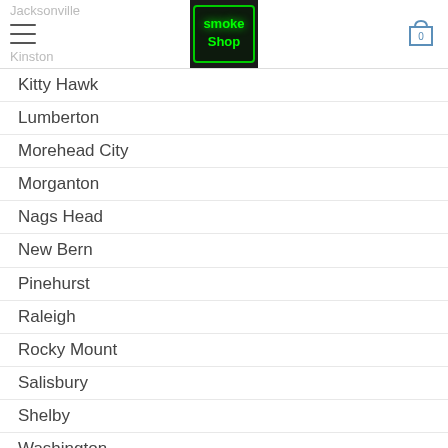Jacksonville | Kinston | Smoke Shop logo | Cart (0)
Kitty Hawk
Lumberton
Morehead City
Morganton
Nags Head
New Bern
Pinehurst
Raleigh
Rocky Mount
Salisbury
Shelby
Washington
Wilmington
Wilson
Winston-Salem